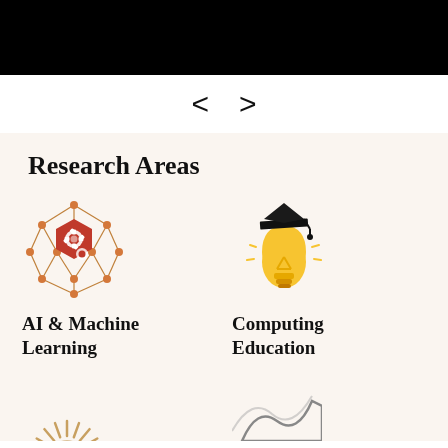[Figure (screenshot): Black banner/header image at the top of the page]
[Figure (infographic): Carousel navigation arrows: left chevron < and right chevron >]
Research Areas
[Figure (illustration): AI & Machine Learning icon: red hexagon with gear/cog symbol overlaid on a geometric network graph with orange nodes and lines]
AI & Machine Learning
[Figure (illustration): Computing Education icon: yellow lightbulb wearing a black graduation cap]
Computing Education
[Figure (illustration): Partial icon at bottom left, appears to be a sun/rays shape, partially cropped]
[Figure (illustration): Partial icon at bottom right, appears to be a wave/mountain shape, partially cropped]